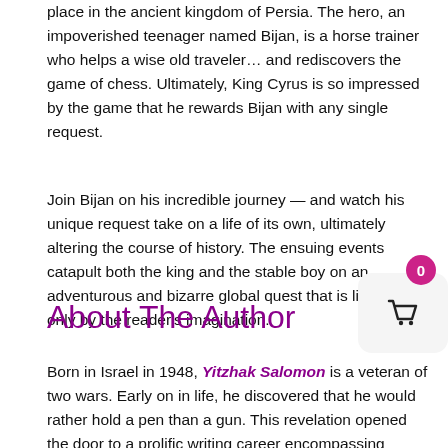place in the ancient kingdom of Persia. The hero, an impoverished teenager named Bijan, is a horse trainer who helps a wise old traveler… and rediscovers the game of chess. Ultimately, King Cyrus is so impressed by the game that he rewards Bijan with any single request.
Join Bijan on his incredible journey — and watch his unique request take on a life of its own, ultimately altering the course of history. The ensuing events catapult both the king and the stable boy on an adventurous and bizarre global quest that is limited only by the reader's imagination.
About The Author
Born in Israel in 1948, Yitzhak Salomon is a veteran of two wars. Early on in life, he discovered that he would rather hold a pen than a gun. This revelation opened the door to a prolific writing career encompassing history, philosophy,